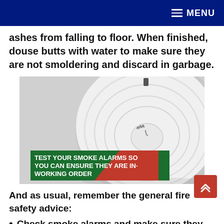MENU
ashes from falling to floor. When finished, douse butts with water to make sure they are not smoldering and discard in garbage.
[Figure (photo): A white smoke/fire alarm detector mounted on a ceiling, with a banner overlay reading 'TEST YOUR SMOKE ALARMS SO YOU CAN ENSURE THEY ARE IN WORKING ORDER']
And as usual, remember the general fire safety advice:
Check smoke alarms and make sure they